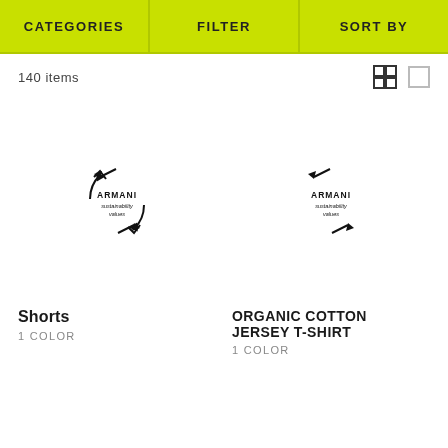CATEGORIES | FILTER | SORT BY
140 items
[Figure (other): Armani sustainability values badge logo for Shorts product]
Shorts
1 COLOR
[Figure (other): Armani sustainability values badge logo for Organic Cotton Jersey T-Shirt product]
ORGANIC COTTON JERSEY T-SHIRT
1 COLOR